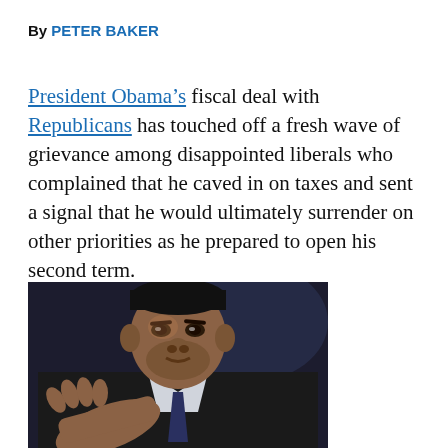By PETER BAKER
President Obama's fiscal deal with Republicans has touched off a fresh wave of grievance among disappointed liberals who complained that he caved in on taxes and sent a signal that he would ultimately surrender on other priorities as he prepared to open his second term.
[Figure (photo): President Obama gesturing with his hand while speaking, wearing a dark suit and tie, photographed from the chest up against a dark background.]